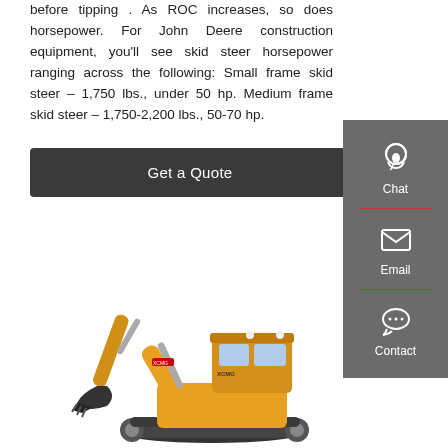before tipping . As ROC increases, so does horsepower. For John Deere construction equipment, you'll see skid steer horsepower ranging across the following: Small frame skid steer – 1,750 lbs., under 50 hp. Medium frame skid steer – 1,750-2,200 lbs., 50-70 hp.
[Figure (other): Dark rounded rectangle button with white text reading 'Get a Quote']
[Figure (other): Vertical sidebar with dark grey background containing three icons: Chat (headset icon), Email (envelope icon), Contact (speech bubble with dots icon), separated by red horizontal dividers]
[Figure (photo): Yellow XCMG mini excavator on white background, shown in side profile with arm extended and bucket lowered]